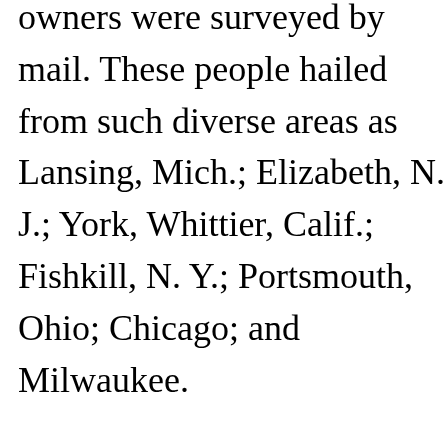owners were surveyed by mail. These people hailed from such diverse areas as Lansing, Mich.; Elizabeth, N. J.; York, Whittier, Calif.; Fishkill, N. Y.; Portsmouth, Ohio; Chicago; and Milwaukee. Typical replies to the question, "What is your overall impression of color TV?" were: "Beautiful," "Great," "Magnificent